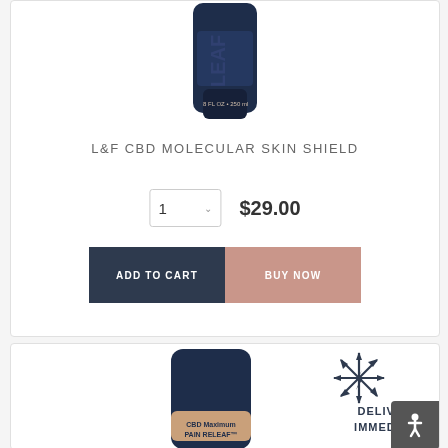[Figure (photo): Product photo of L&F CBD Molecular Skin Shield bottle, dark navy blue tube/bottle, partially cropped at top]
L&F CBD MOLECULAR SKIN SHIELD
1  $29.00
ADD TO CART
BUY NOW
[Figure (photo): Product photo of CBD Maximum Pain Releaf cream tube, dark blue tube with beige band, partially visible; snowflake/lightning bolt icon; text DELIVERS IMMEDIATE]
DELIVERS IMMEDIATE